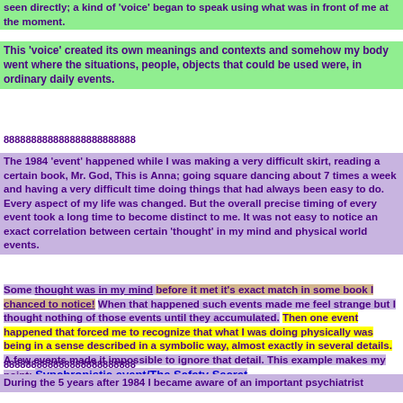seen directly; a kind of 'voice' began to speak using what was in front of me at the moment.
This 'voice' created its own meanings and contexts and somehow my body went where the situations, people, objects that could be used were, in ordinary daily events.
888888888888888888888888
The 1984 'event' happened while I was making a very difficult skirt, reading a certain book, Mr. God, This is Anna; going square dancing about 7 times a week and having a very difficult time doing things that had always been easy to do. Every aspect of my life was changed. But the overall precise timing of every event took a long time to become distinct to me. It was not easy to notice an exact correlation between certain 'thought' in my mind and physical world events.
Some thought was in my mind before it met it's exact match in some book I chanced to notice! When that happened such events made me feel strange but I thought nothing of those events until they accumulated. Then one event happened that forced me to recognize that what I was doing physically was being in a sense described in a symbolic way, almost exactly in several details. A few events made it impossible to ignore that detail. This example makes my point: Synchronistic event/The Safety Secret
888888888888888888888888
During the 5 years after 1984 I became aware of an important psychiatrist whose books influenced me enormously, Theodore Reik, Abraham 16th. The